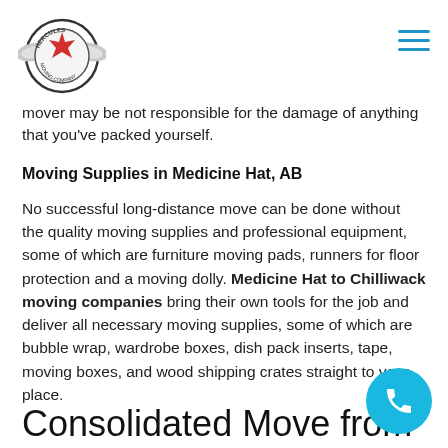[Figure (logo): Hercules Moving Company logo — circular badge with wings and Canadian maple leaf]
[Figure (other): Hamburger menu icon — three horizontal cyan lines]
mover may be not responsible for the damage of anything that you've packed yourself.
Moving Supplies in Medicine Hat, AB
No successful long-distance move can be done without the quality moving supplies and professional equipment, some of which are furniture moving pads, runners for floor protection and a moving dolly. Medicine Hat to Chilliwack moving companies bring their own tools for the job and deliver all necessary moving supplies, some of which are bubble wrap, wardrobe boxes, dish pack inserts, tape, moving boxes, and wood shipping crates straight to your place.
Consolidated Move from
[Figure (other): Circular cyan phone call button with white phone handset icon]